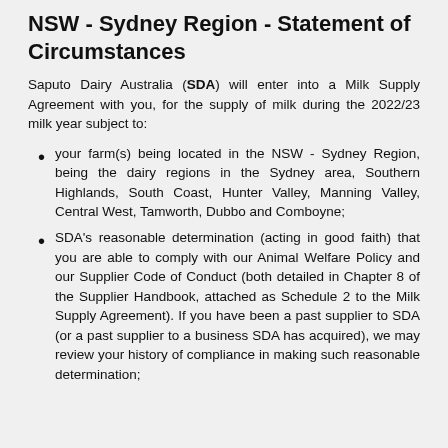NSW - Sydney Region - Statement of Circumstances
Saputo Dairy Australia (SDA) will enter into a Milk Supply Agreement with you, for the supply of milk during the 2022/23 milk year subject to:
your farm(s) being located in the NSW - Sydney Region, being the dairy regions in the Sydney area, Southern Highlands, South Coast, Hunter Valley, Manning Valley, Central West, Tamworth, Dubbo and Comboyne;
SDA's reasonable determination (acting in good faith) that you are able to comply with our Animal Welfare Policy and our Supplier Code of Conduct (both detailed in Chapter 8 of the Supplier Handbook, attached as Schedule 2 to the Milk Supply Agreement). If you have been a past supplier to SDA (or a past supplier to a business SDA has acquired), we may review your history of compliance in making such reasonable determination;